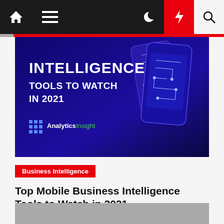Navigation bar with home, menu, moon, bolt, and search icons
[Figure (illustration): Hero banner image with dark blue/purple background showing circuit board phone designs and text: INTELLIGENCE TOOLS TO WATCH IN 2021, Analytics Insight logo]
Business Intelligence
Top Mobile Business Intelligence Tools to Watch in 2021
Sara G. Norris  9 months ago